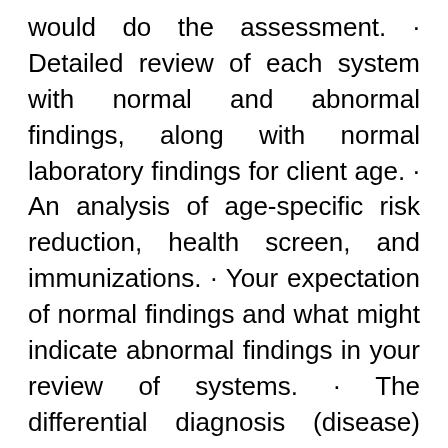would do the assessment. · Detailed review of each system with normal and abnormal findings, along with normal laboratory findings for client age. · An analysis of age-specific risk reduction, health screen, and immunizations. · Your expectation of normal findings and what might indicate abnormal findings in your review of systems. · The differential diagnosis (disease) associated with possible abnormal findings. · A plan of care (including nursing diagnosis, interventions, evaluation). · Client and age-appropriate evidenced based practice strategies for health promotion. · Pharmacological treatments that can be used to address health issues for this client. Provide